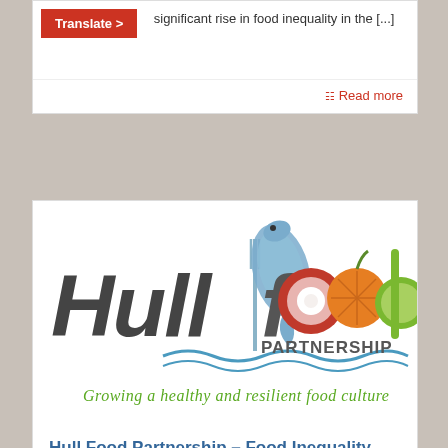significant rise in food inequality in the [...]
Translate >
Read more
[Figure (logo): Hull Food Partnership logo with colorful food illustrations (onion, orange, green vegetable, fish/newt) and tagline: Growing a healthy and resilient food culture]
Hull Food Partnership – Food Inequality Small Grant Funding Programme